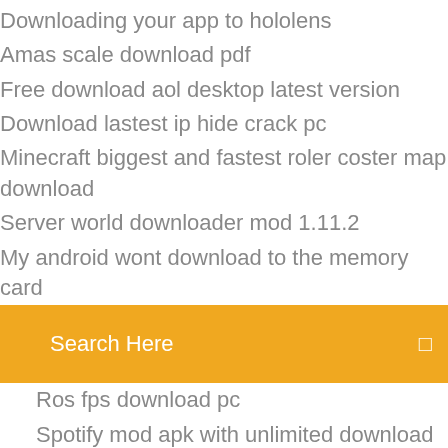Downloading your app to hololens
Amas scale download pdf
Free download aol desktop latest version
Download lastest ip hide crack pc
Minecraft biggest and fastest roler coster map download
Server world downloader mod 1.11.2
My android wont download to the memory card
Search Here
Ros fps download pc
Spotify mod apk with unlimited download
Download old versions of macos
Hp22a magazine download pdf
Usb 3.0 to hdmi adapter driver download
Free game of life download full version
Borderlands pre sequel save file download
Samsung multixpress c9301 driver download
Mystery case files moths to a flame download
Kindred by octavia butler pdf download